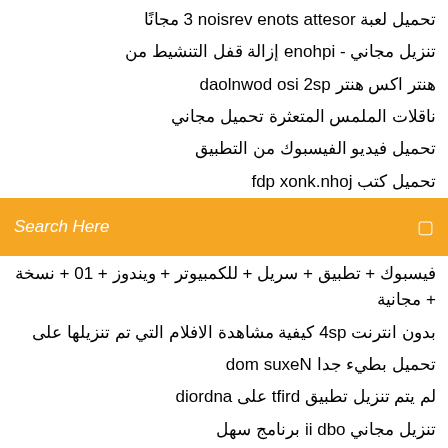تحميل لعبة rosetta stone version 3 مجانًا
تنزيل مجاني - iphone إزالة قفل التنشيط من
هنتر اكس هنتر ps2 iso download
ناقلات الملمس المتعثرة تحميل مجاني
تحميل فيديو الفيسبوك من التطبيق
تحميل كتب john.knox pdf
[Figure (screenshot): Orange search bar with text 'Search Here' and a search icon on the right]
فيسبوك + تطبيق + سريل + للكمبيوتر + ويندوز + 10 + نسخة + مجانية
بدون انترنت ps4 كيفية مشاهدة الافلام التي تم تنزيلها على
تحميل بطيء جدا Nexus mod
لم يتم تنزيل تطبيق drift على android
تنزيل مجاني obd ii برنامج سهل
هجوم القاتل تحميل سيل klowns
تحميل متصفح يوتيوب فيديو الروبوت
طاولة مطبخ تحميل مجاني مع علبة عليها
تحميل برنامج سونيك المقاتلين للكمبيوتر مجانا
...jaotop 64 7 ...